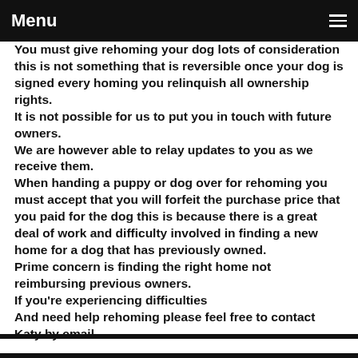Menu
You must give rehoming your dog lots of consideration this is not something that is reversible once your dog is signed every homing you relinquish all ownership rights.
It is not possible for us to put you in touch with future owners.
We are however able to relay updates to you as we receive them.
When handing a puppy or dog over for rehoming you must accept that you will forfeit the purchase price that you paid for the dog this is because there is a great deal of work and difficulty involved in finding a new home for a dog that has previously owned.
Prime concern is finding the right home not reimbursing previous owners.
If you're experiencing difficulties
And need help rehoming please feel free to contact Katy by email